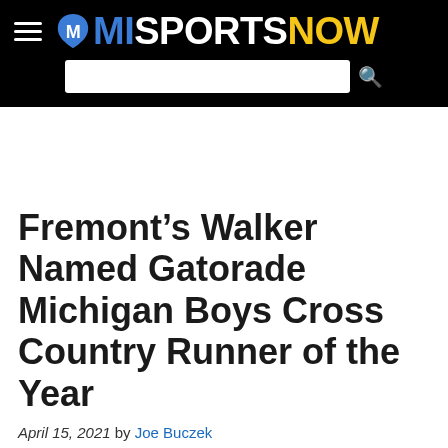MI SPORTS NOW
Fremont’s Walker Named Gatorade Michigan Boys Cross Country Runner of the Year
April 15, 2021 by Joe Buczek
[Figure (photo): Partial image at bottom of page, appears to be an outdoor winter or cross country scene]